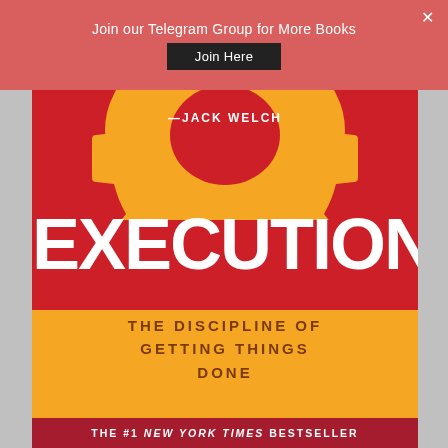Join our Telegram Group for More Books
Join Here
[Figure (illustration): Book cover of 'Execution: The Discipline of Getting Things Done' with a quote by Jack Welch. Red background with a yellow/orange gear at the top, large white 'EXECUTION' text, orange lower section with subtitle, and dark red bestseller banner at bottom.]